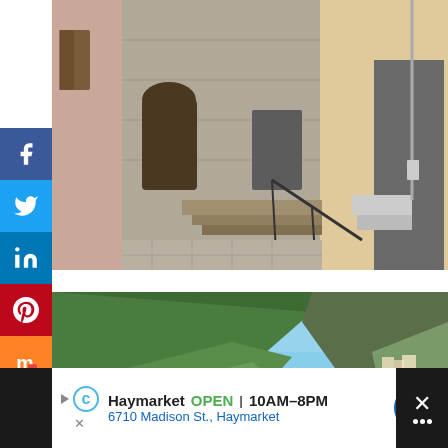[Figure (photo): Italian narrow alley with stone buildings, a staircase with metal railing, warm-colored plaster facades, wooden doors and shutters]
[Figure (photo): Coastal Italian village (Cinque Terre / Monterosso) with green hillside, terraced cliffs, colorful buildings along the waterfront, blue sea and sky]
Haymarket  OPEN | 10AM–8PM
6710 Madison St., Haymarket